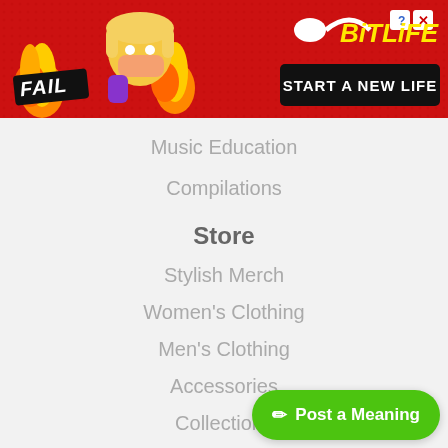[Figure (screenshot): BitLife advertisement banner with red background, flames, cartoon character, 'FAIL' badge, BitLife logo, and 'START A NEW LIFE' text]
Music Education
Compilations
Store
Stylish Merch
Women's Clothing
Men's Clothing
Accessories
Collections
Support
About
Advertis...
[Figure (other): Green 'Post a Meaning' button with pencil icon in bottom right corner]